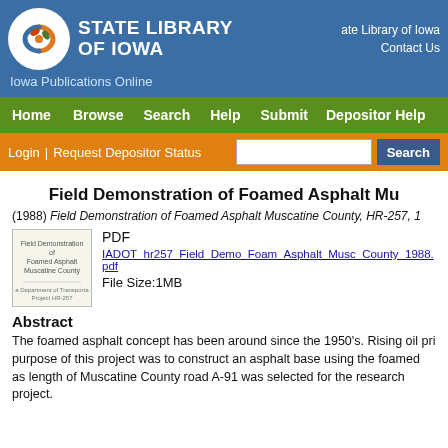[Figure (logo): State Library of Iowa logo with circular decorative emblem and text]
State Library of Iowa
Contact Us
Iowa Publications Online
Home  Browse  Search  Help  Submit  Depositor Help
Login | Request Depositor Status  [Search box]  Search
Field Demonstration of Foamed Asphalt Mu
(1988) Field Demonstration of Foamed Asphalt Muscatine County, HR-257, 1
[Figure (thumbnail): Thumbnail of PDF document cover page for Field Demonstration of Foamed Asphalt Muscatine County]
PDF
IADOT_hr257_Field_Demo_Foam_Asphalt_Musc_County_1988.pdf
File Size:1MB
Abstract
The foamed asphalt concept has been around since the 1950's. Rising oil pri purpose of this project was to construct an asphalt base using the foamed as length of Muscatine County road A-91 was selected for the research project.